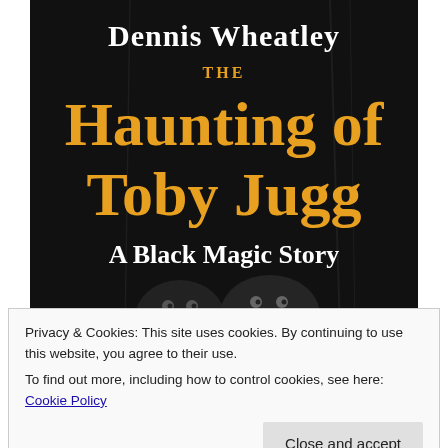[Figure (photo): Book cover of 'The Haunting of Toby Jugg' by Dennis Wheatley - A Black Magic Story. Dark black background with orange/gold title text and white author name. Two dark bird-like creatures visible at bottom of cover.]
Privacy & Cookies: This site uses cookies. By continuing to use this website, you agree to their use.
To find out more, including how to control cookies, see here: Cookie Policy
Close and accept